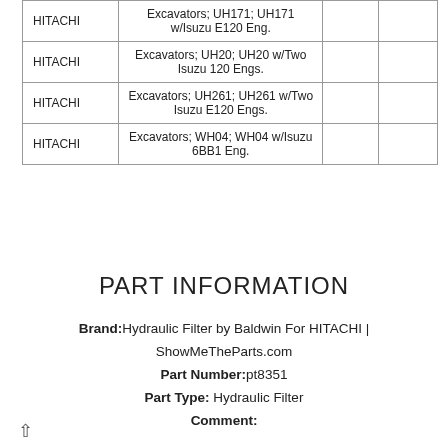| Brand | Description |  |  |
| --- | --- | --- | --- |
| HITACHI | Excavators; UH171; UH171 w/Isuzu E120 Eng. |  |  |
| HITACHI | Excavators; UH20; UH20 w/Two Isuzu 120 Engs. |  |  |
| HITACHI | Excavators; UH261; UH261 w/Two Isuzu E120 Engs. |  |  |
| HITACHI | Excavators; WH04; WH04 w/Isuzu 6BB1 Eng. |  |  |
PART INFORMATION
Brand: Hydraulic Filter by Baldwin For HITACHI | ShowMeTheParts.com
Part Number: pt8351
Part Type: Hydraulic Filter
Comment: